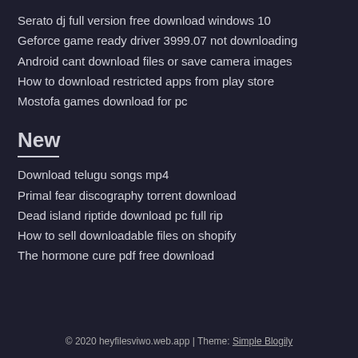Serato dj full version free download windows 10
Geforce game ready driver 3999.07 not downloading
Android cant download files or save camera images
How to download restricted apps from play store
Mostofa games download for pc
New
Download telugu songs mp4
Primal fear discography torrent download
Dead island riptide download pc full rip
How to sell downloadable files on shopify
The hormone cure pdf free download
© 2020 heyfilesviwo.web.app | Theme: Simple Blogily